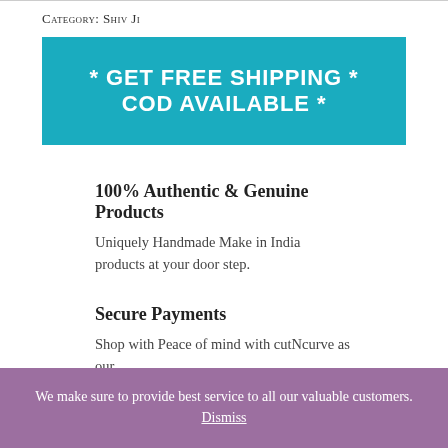Category: Shiv Ji
[Figure (infographic): Teal/cyan banner with white bold text: * GET FREE SHIPPING * COD AVAILABLE *]
100% Authentic & Genuine Products
Uniquely Handmade Make in India products at your door step.
Secure Payments
Shop with Peace of mind with cutNcurve as our
We make sure to provide best service to all our valuable customers. Dismiss